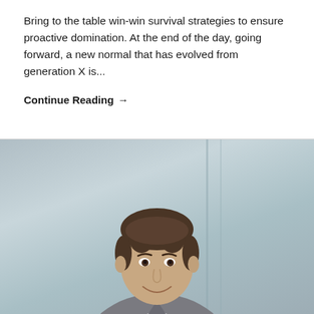Bring to the table win-win survival strategies to ensure proactive domination. At the end of the day, going forward, a new normal that has evolved from generation X is...
Continue Reading →
[Figure (photo): Professional headshot of a young smiling man in a grey suit and white shirt, photographed against a blurred grey/blue office background.]